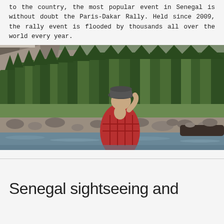to the country, the most popular event in Senegal is without doubt the Paris-Dakar Rally. Held since 2009, the rally event is flooded by thousands all over the world every year.
[Figure (photo): Person in red flannel shirt and dark hat sitting by a rocky river with tall pine trees and rocky cliffs in the background]
Senegal sightseeing and